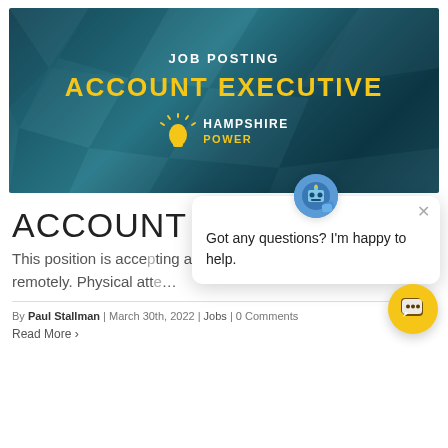[Figure (illustration): Job posting banner with teal geometric polygon background. Text reads JOB POSTING in white, ACCOUNT EXECUTIVE in gold/yellow bold. Hampshire Power logo with sun/bulb icon in center.]
ACCOUNT EXECUTIVE
This position is accepting applications remotely. Physical att…
By Paul Stallman | March 30th, 2022 | Jobs | 0 Comments
Read More >
[Figure (screenshot): Chat popup overlay with avatar icon, close button (×), and text: Got any questions? I'm happy to help. Yellow circular chat button in bottom right corner.]